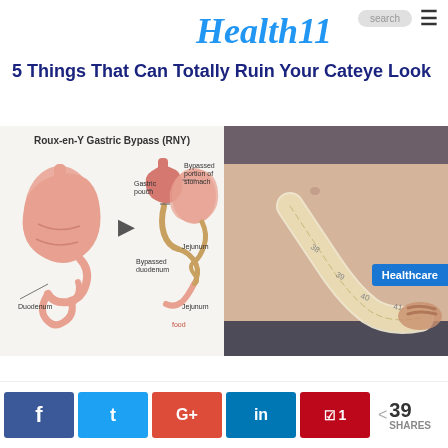Health11
5 Things That Can Totally Ruin Your Cateye Look
[Figure (illustration): Two-panel image: left panel shows a medical diagram of Roux-en-Y Gastric Bypass (RNY) with labels for Gastric pouch, Bypassed portion of stomach, Duodenum, Bypassed duodenum, Jejunum, food, digestive juice; right panel shows a photo of a person's midsection being measured with a tape measure.]
Healthcare
f  t  G+  in   pinterest 1  < 39 SHARES